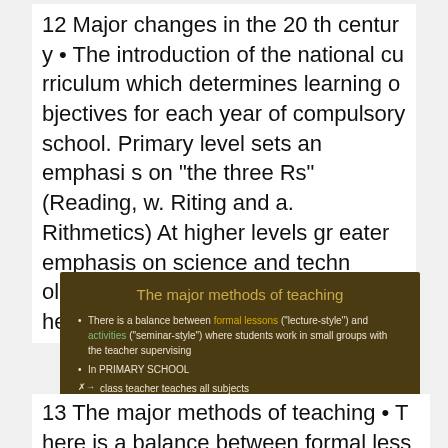12 Major changes in the 20 th century • The introduction of the national curriculum which determines learning objectives for each year of compulsory school. Primary level sets an emphasis on "the three Rs" (Reading, w. Riting and a. Rithmetics) At higher levels greater emphasis on science and technology. Before: too much attention to the arts and humanities.
[Figure (infographic): Dark brown slide titled 'The major methods of teaching' with bullet points about balance between formal lessons and activities, primary school teacher roles, and national tests at ages 7 and 11.]
13 The major methods of teaching • There is a balance between formal less